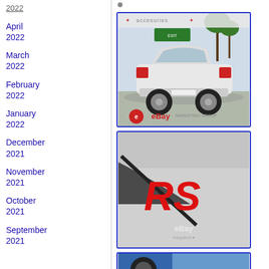2022
April 2022
March 2022
February 2022
January 2022
December 2021
November 2021
October 2021
September 2021
[Figure (photo): White Toyota Corolla sedan, rear three-quarter view, with aftermarket wheels, in a parking area with palm trees. eBay watermark with 'accesories' text at top.]
[Figure (photo): Close-up of a car body panel showing a red 'RS' badge/emblem. eBay watermark visible at bottom.]
[Figure (photo): Partial view of a blue car's wheel and door area, partially visible at bottom of page.]